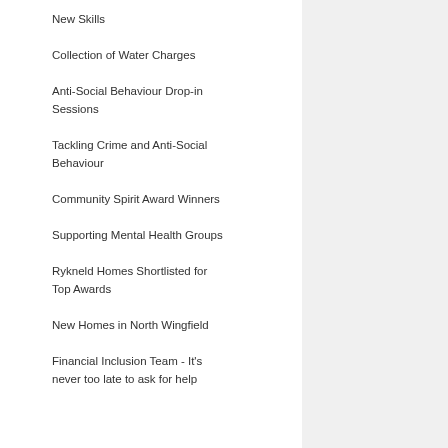New Skills
Collection of Water Charges
Anti-Social Behaviour Drop-in Sessions
Tackling Crime and Anti-Social Behaviour
Community Spirit Award Winners
Supporting Mental Health Groups
Rykneld Homes Shortlisted for Top Awards
New Homes in North Wingfield
Financial Inclusion Team - It's never too late to ask for help